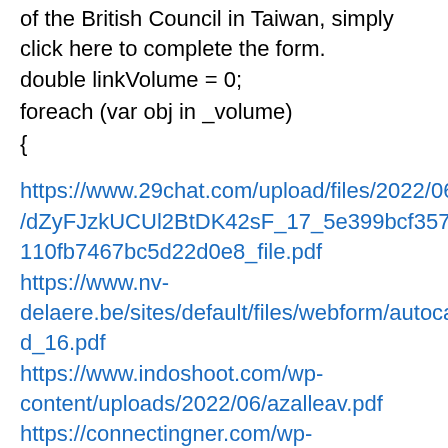of the British Council in Taiwan, simply click here to complete the form.
double linkVolume = 0;
foreach (var obj in _volume)
{
https://www.29chat.com/upload/files/2022/06/dZyFJzkUCUl2BtDK42sF_17_5e399bcf3576d110fb7467bc5d22d0e8_file.pdf https://www.nv-delaere.be/sites/default/files/webform/autocad_16.pdf https://www.indoshoot.com/wp-content/uploads/2022/06/azalleav.pdf https://connectingner.com/wp-content/uploads/2022/06/AutoCAD-94.pdf https://topcoffeebar.com/wp-content/uploads/2022/06/AutoCAD_Crack_W